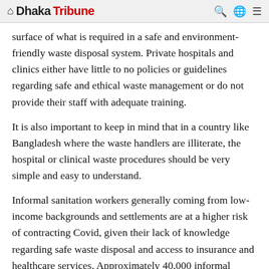Dhaka Tribune
surface of what is required in a safe and environment-friendly waste disposal system. Private hospitals and clinics either have little to no policies or guidelines regarding safe and ethical waste management or do not provide their staff with adequate training.
It is also important to keep in mind that in a country like Bangladesh where the waste handlers are illiterate, the hospital or clinical waste procedures should be very simple and easy to understand.
Informal sanitation workers generally coming from low-income backgrounds and settlements are at a higher risk of contracting Covid, given their lack of knowledge regarding safe waste disposal and access to insurance and healthcare services. Approximately 40,000 informal workers are under high risk of contracting the virus due to inadequate protection, with these individuals ultimately becoming the main carriers of the virus as they usually do not have the privilege of